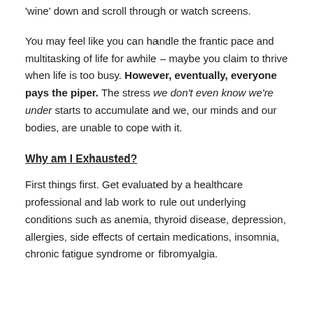'wine' down and scroll through or watch screens.
You may feel like you can handle the frantic pace and multitasking of life for awhile – maybe you claim to thrive when life is too busy. However, eventually, everyone pays the piper. The stress we don't even know we're under starts to accumulate and we, our minds and our bodies, are unable to cope with it.
Why am I Exhausted?
First things first. Get evaluated by a healthcare professional and lab work to rule out underlying conditions such as anemia, thyroid disease, depression, allergies, side effects of certain medications, insomnia, chronic fatigue syndrome or fibromyalgia.